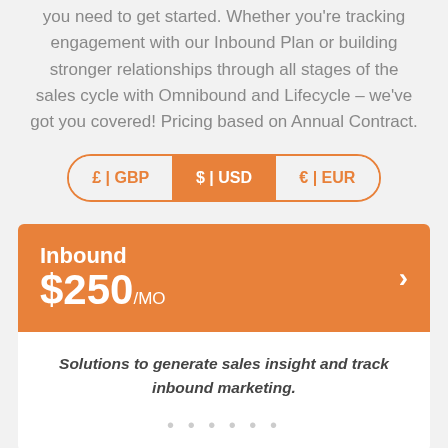you need to get started. Whether you're tracking engagement with our Inbound Plan or building stronger relationships through all stages of the sales cycle with Omnibound and Lifecycle – we've got you covered! Pricing based on Annual Contract.
[Figure (other): Currency selector toggle with three options: £ | GBP, $ | USD (active/selected in orange), € | EUR]
Inbound $250/MO — Solutions to generate sales insight and track inbound marketing.